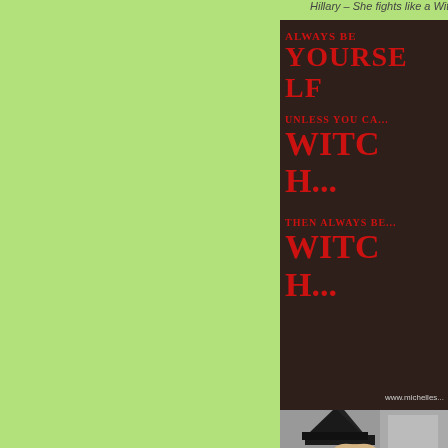Hillary – She fights like a Witch!
[Figure (photo): Dark brown background image with red gothic/old English style text reading: ALWAYS BE YOURSELF UNLESS YOU CAN BE A WITCH THEN ALWAYS BE A WITCH, with website www.michelles... at bottom. Below is a photo of a woman with blonde hair wearing a black witch hat.]